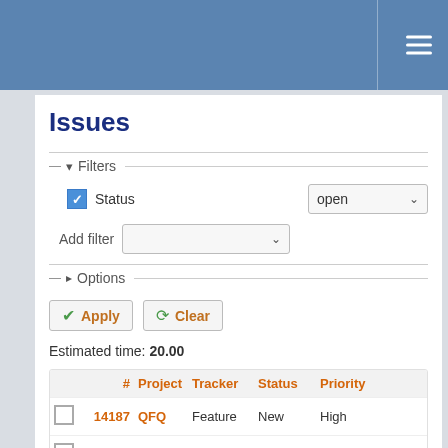Issues tracker interface header with hamburger menu
Issues
Filters (collapsed section with chevron down)
Status: open (checkbox checked, dropdown showing 'open')
Add filter (dropdown)
Options (collapsed section with chevron right)
Apply   Clear
Estimated time: 20.00
|  | # | Project | Tracker | Status | Priority |
| --- | --- | --- | --- | --- | --- |
| ☐ | 14187 | QFQ | Feature | New | High |
| ☐ | 14227 | QFQ | Feature | New | Normal |